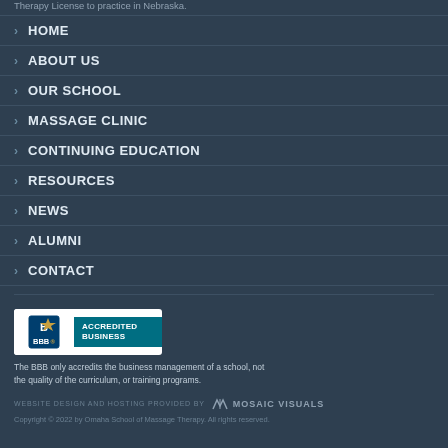Therapy License to practice in Nebraska.
HOME
ABOUT US
OUR SCHOOL
MASSAGE CLINIC
CONTINUING EDUCATION
RESOURCES
NEWS
ALUMNI
CONTACT
[Figure (logo): BBB Accredited Business badge with blue background]
The BBB only accredits the business management of a school, not the quality of the curriculum, or training programs.
WEBSITE DESIGN AND HOSTING PROVIDED BY MOSAIC VISUALS
Copyright © 2022 by Omaha School of Massage Therapy. All rights reserved.